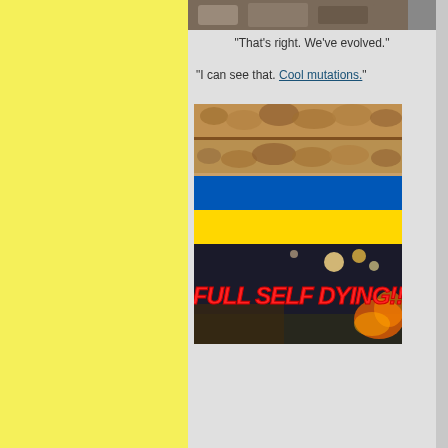"That's right. We've evolved."
"I can see that. Cool mutations."
[Figure (photo): Ancient carved stone relief with repeating floral/leaf patterns]
[Figure (illustration): Ukrainian flag - blue top half and yellow bottom half]
[Figure (photo): Dark night scene with text overlay reading 'FULL SELF DYING!!' in red stylized font]